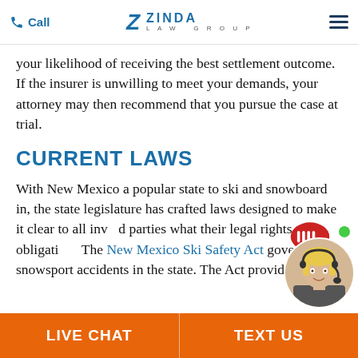Call | ZINDA LAW GROUP | [menu]
your likelihood of receiving the best settlement outcome. If the insurer is unwilling to meet your demands, your attorney may then recommend that you pursue the case at trial.
CURRENT LAWS
With New Mexico a popular state to ski and snowboard in, the state legislature has crafted laws designed to make it clear to all involved parties what their legal rights and obligations are. The New Mexico Ski Safety Act governs most snowsport accidents in the state. The Act provides
[Figure (other): Live chat widget with red speech bubble icon with 'IIII' and blonde female customer service avatar with green online indicator dot]
LIVE CHAT | TEXT US